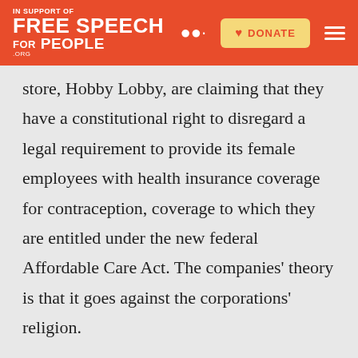Free Speech For People — DONATE [navigation header]
store, Hobby Lobby, are claiming that they have a constitutional right to disregard a legal requirement to provide its female employees with health insurance coverage for contraception, coverage to which they are entitled under the new federal Affordable Care Act. The companies' theory is that it goes against the corporations' religion.
The future implications of a court case like this are endless. If corporations are given the right to religious freedom, what does this mean for the future of law? Can corporations have